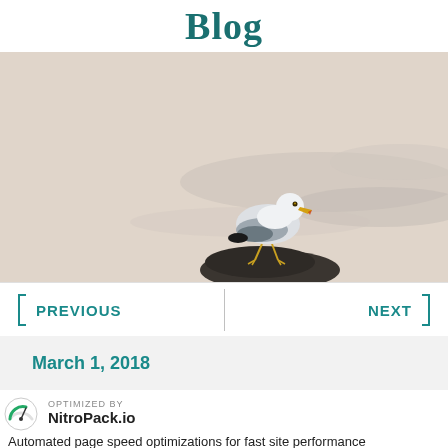Blog
[Figure (photo): A seagull standing on a dark rock at the ocean's edge, with pale water and soft light in the background.]
PREVIOUS
NEXT
March 1, 2018
OPTIMIZED BY NitroPack.io
Automated page speed optimizations for fast site performance